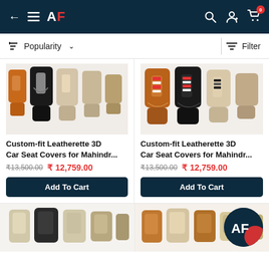AF — App header with back arrow, hamburger menu, AF logo, search icon, account icon, cart icon (badge: 0)
Popularity ∨   Filter
[Figure (photo): Car seat covers product image — multiple seat covers in orange, black/silver, and beige displayed together]
Custom-fit Leatherette 3D Car Seat Covers for Mahindr...
₹13,500.00  ₹ 12,759.00
Add To Cart
[Figure (photo): Car seat covers product image — multiple seat covers in orange/brown with red-white stripes, black, and beige displayed together]
Custom-fit Leatherette 3D Car Seat Covers for Mahindr...
₹13,500.00  ₹ 12,759.00
Add To Cart
[Figure (photo): Partial bottom row of car seat covers — beige, black/charcoal, visible from behind]
[Figure (photo): Partial bottom row of car seat covers — orange/brown visible from behind]
[Figure (logo): AF logo circular watermark in dark navy with red accent]